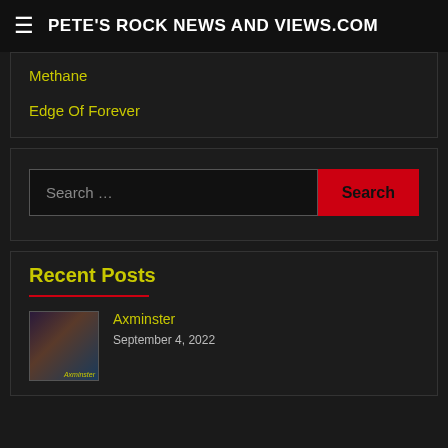PETE'S ROCK NEWS AND VIEWS.COM
Methane
Edge Of Forever
Search …
Recent Posts
Axminster
September 4, 2022